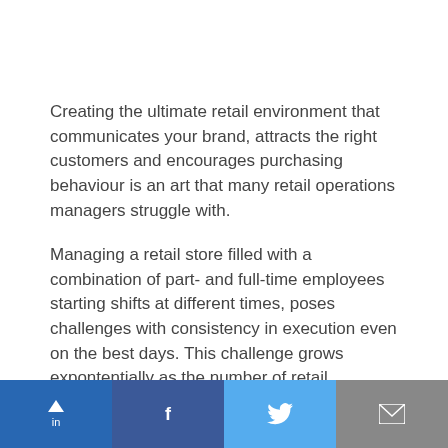Creating the ultimate retail environment that communicates your brand, attracts the right customers and encourages purchasing behaviour is an art that many retail operations managers struggle with.
Managing a retail store filled with a combination of part- and full-time employees starting shifts at different times, poses challenges with consistency in execution even on the best days. This challenge grows expontentially as the number of retail
[Figure (other): Social share bar at the bottom with LinkedIn, Facebook, Twitter, and email buttons]